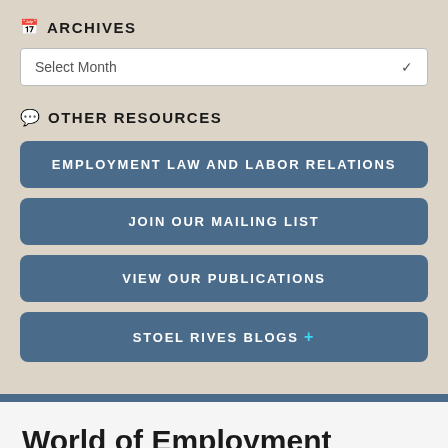ARCHIVES
Select Month
OTHER RESOURCES
EMPLOYMENT LAW AND LABOR RELATIONS
JOIN OUR MAILING LIST
VIEW OUR PUBLICATIONS
STOEL RIVES BLOGS +
World of Employment
Stoel Rives LLP